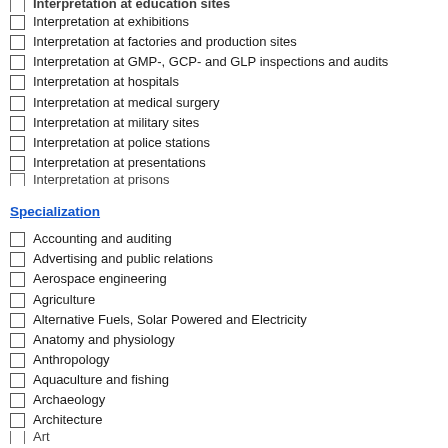Interpretation at exhibitions
Interpretation at factories and production sites
Interpretation at GMP-, GCP- and GLP inspections and audits
Interpretation at hospitals
Interpretation at medical surgery
Interpretation at military sites
Interpretation at police stations
Interpretation at presentations
Interpretation at prisons
Specialization
Accounting and auditing
Advertising and public relations
Aerospace engineering
Agriculture
Alternative Fuels, Solar Powered and Electricity
Anatomy and physiology
Anthropology
Aquaculture and fishing
Archaeology
Architecture
Art